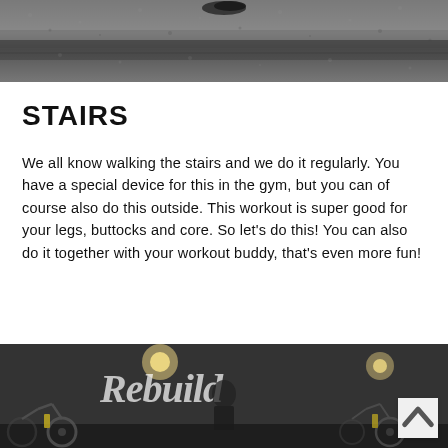[Figure (photo): Close-up photo of stone/concrete stairs with a shoe visible at the top, grayscale texture]
STAIRS
We all know walking the stairs and we do it regularly. You have a special device for this in the gym, but you can of course also do this outside. This workout is super good for your legs, buttocks and core. So let's do this! You can also do it together with your workout buddy, that's even more fun!
[Figure (photo): Interior photo of a gym with cycling bikes and a large white script logo 'Rebuild' on a dark wall, a person in dark clothing visible]